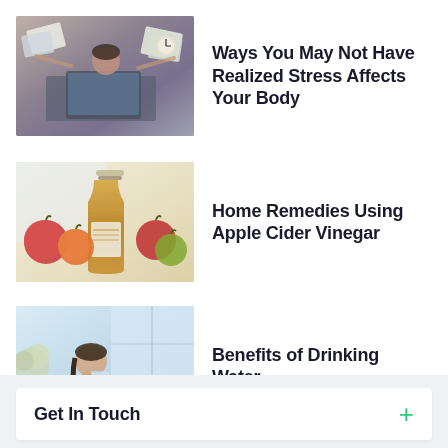[Figure (photo): Stressed woman at laptop with people holding papers around her]
Ways You May Not Have Realized Stress Affects Your Body
[Figure (photo): Apple cider vinegar bottle with apples on a table]
Home Remedies Using Apple Cider Vinegar
[Figure (photo): Woman drinking a glass of water in a kitchen]
Benefits of Drinking Water
Get In Touch